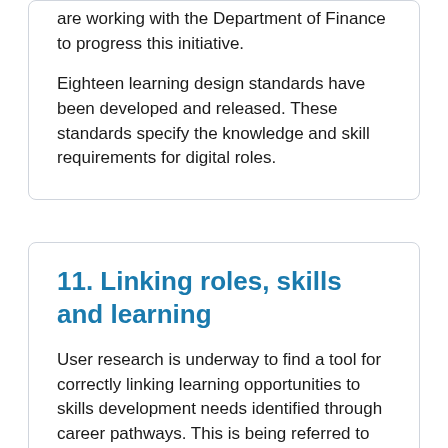are working with the Department of Finance to progress this initiative.
Eighteen learning design standards have been developed and released. These standards specify the knowledge and skill requirements for digital roles.
11. Linking roles, skills and learning
User research is underway to find a tool for correctly linking learning opportunities to skills development needs identified through career pathways. This is being referred to as a career pathways tool.